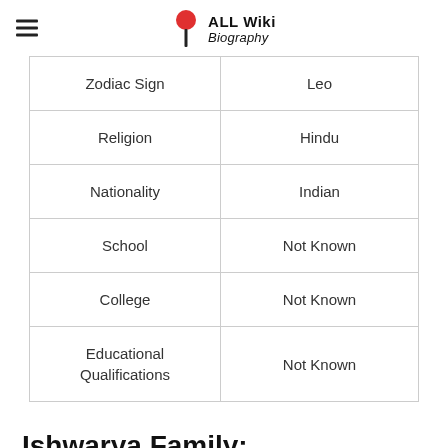ALL Wiki Biography
| Zodiac Sign | Leo |
| Religion | Hindu |
| Nationality | Indian |
| School | Not Known |
| College | Not Known |
| Educational Qualifications | Not Known |
Ishwarya Family: